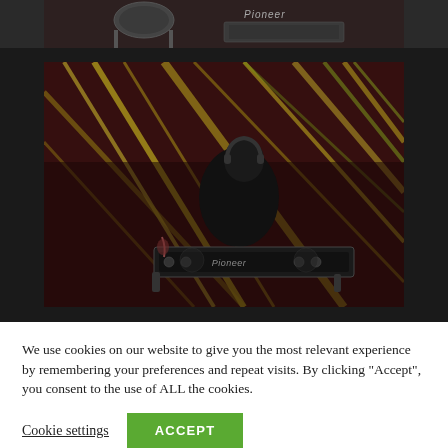[Figure (photo): Partial top strip of a DJ setup with Pioneer equipment, dark background, cropped at top of page]
[Figure (photo): DJ performing at a club or event, silhouetted against a dramatic projection of yellow diagonal light streaks on a dark maroon/brown background. Pioneer DJ equipment visible in the foreground. Person wearing headphones.]
We use cookies on our website to give you the most relevant experience by remembering your preferences and repeat visits. By clicking “Accept”, you consent to the use of ALL the cookies.
Cookie settings
ACCEPT